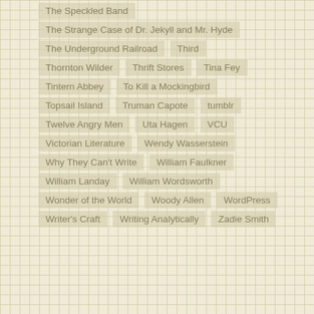The Speckled Band
The Strange Case of Dr. Jekyll and Mr. Hyde
The Underground Railroad   Third
Thornton Wilder   Thrift Stores   Tina Fey
Tintern Abbey   To Kill a Mockingbird
Topsail Island   Truman Capote   tumblr
Twelve Angry Men   Uta Hagen   VCU
Victorian Literature   Wendy Wasserstein
Why They Can't Write   William Faulkner
William Landay   William Wordsworth
Wonder of the World   Woody Allen   WordPress
Writer's Craft   Writing Analytically   Zadie Smith